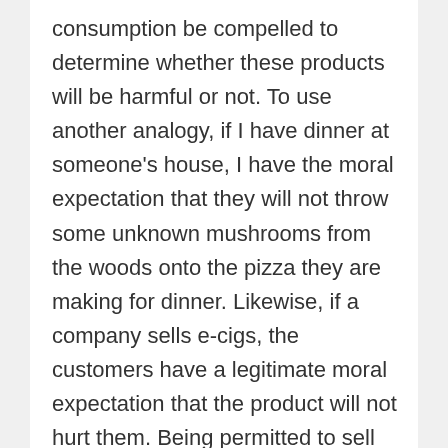consumption be compelled to determine whether these products will be harmful or not. To use another analogy, if I have dinner at someone's house, I have the moral expectation that they will not throw some unknown mushrooms from the woods onto the pizza they are making for dinner. Likewise, if a company sells e-cigs, the customers have a legitimate moral expectation that the product will not hurt them. Being permitted to sell products whose effect is not known is morally dubious at best. But, it should be said, that people who use such a product do bear some of the moral responsibility—they have an obligation